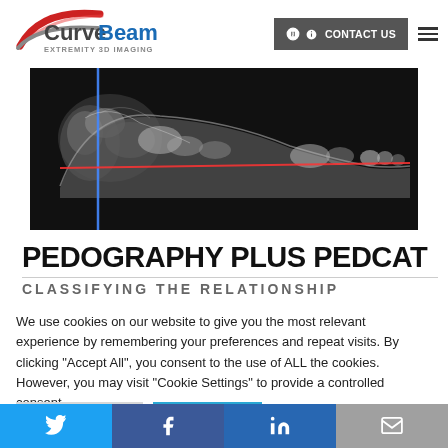[Figure (logo): CurveBeam logo with red arc and text 'CurveBeam EXTREMITY 3D IMAGING']
[Figure (screenshot): X-ray CT scan of a foot shown in lateral view on black background with blue vertical line and red horizontal measurement line]
PEDOGRAPHY PLUS PEDCAT
We use cookies on our website to give you the most relevant experience by remembering your preferences and repeat visits. By clicking "Accept All", you consent to the use of ALL the cookies. However, you may visit "Cookie Settings" to provide a controlled consent.
[Figure (infographic): Social media share bar with Twitter, Facebook, LinkedIn, and email icons]